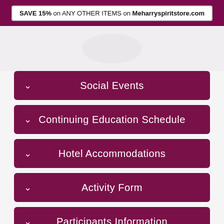SAVE 15% on ANY OTHER ITEMS on Meharryspiritstore.com
Social Events
Continuing Education Schedule
Hotel Accommodations
Activity Form
Participants Information
Reunion Class Agents & Liaisons